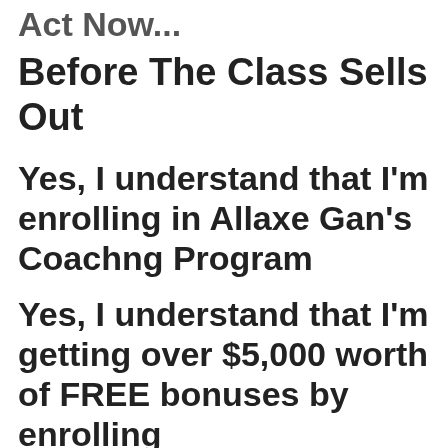Act Now...
Before The Class Sells Out
Yes, I understand that I'm enrolling in Allaxe Gan's Coachng Program
Yes, I understand that I'm getting over $5,000 worth of FREE bonuses by enrolling
Yes, I understand that